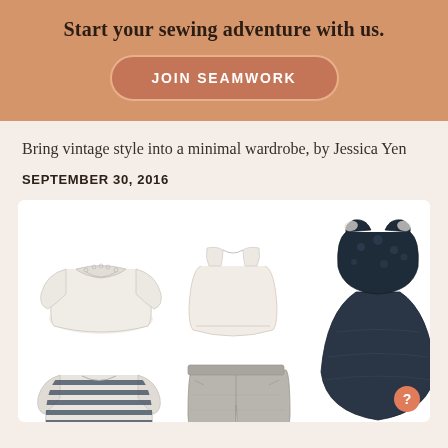Start your sewing adventure with us.
JOIN SEAMWORK
Bring vintage style into a minimal wardrobe, by Jessica Yen
SEPTEMBER 30, 2016
[Figure (illustration): Six clothing illustrations arranged in a 3x2 grid on white background: top row shows a white blouse with lace collar and bell sleeves, a simple cream tank top, and a dark navy/black fit-and-flare dress with floral texture. Bottom row shows a navy striped t-shirt, grey shorts/culottes, and the lower portion of the dark flare dress.]